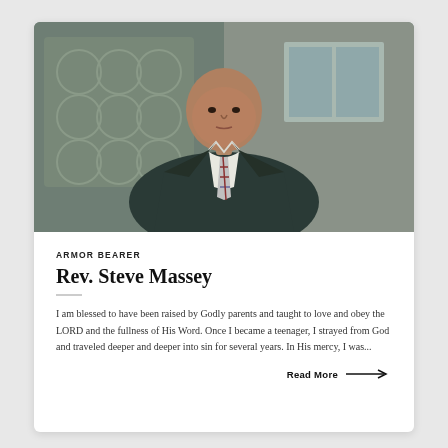[Figure (photo): Portrait photo of Rev. Steve Massey, a bald African-American man wearing a dark suit with a plaid tie, standing in front of an ornate building exterior]
ARMOR BEARER
Rev. Steve Massey
I am blessed to have been raised by Godly parents and taught to love and obey the LORD and the fullness of His Word. Once I became a teenager, I strayed from God and traveled deeper and deeper into sin for several years. In His mercy, I was...
Read More →